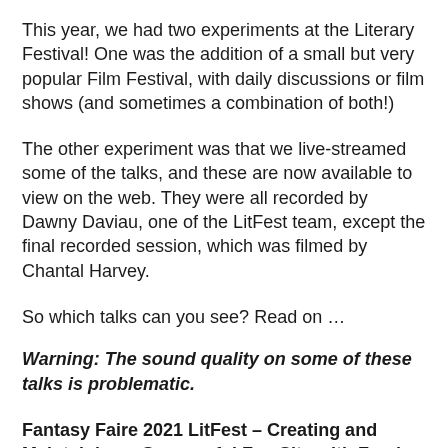This year, we had two experiments at the Literary Festival! One was the addition of a small but very popular Film Festival, with daily discussions or film shows (and sometimes a combination of both!)
The other experiment was that we live-streamed some of the talks, and these are now available to view on the web. They were all recorded by Dawny Daviau, one of the LitFest team, except the final recorded session, which was filmed by Chantal Harvey.
So which talks can you see? Read on …
Warning: The sound quality on some of these talks is problematic.
Fantasy Faire 2021 LitFest – Creating and Maintaining a Successful Fan Site with Freyja Nemeth and Ran Garrigus